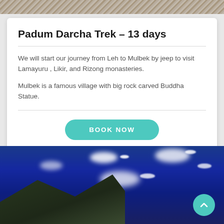[Figure (photo): Top portion of a rocky/gravelly texture image, cropped at the top of the page]
Padum Darcha Trek – 13 days
We will start our journey from Leh to Mulbek by jeep to visit Lamayuru , Likir, and Rizong monasteries.
Mulbek is a famous village with big rock carved Buddha Statue.
BOOK NOW
[Figure (photo): Mountain landscape with dark rocky peaks against a deep blue sky with white clouds, bottom portion of the page]